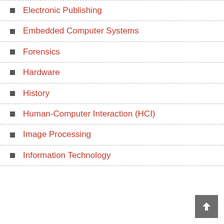Electronic Publishing
Embedded Computer Systems
Forensics
Hardware
History
Human-Computer Interaction (HCI)
Image Processing
Information Technology